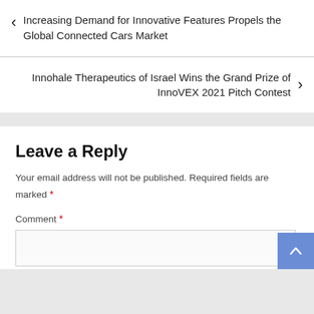< Increasing Demand for Innovative Features Propels the Global Connected Cars Market
Innohale Therapeutics of Israel Wins the Grand Prize of InnoVEX 2021 Pitch Contest >
Leave a Reply
Your email address will not be published. Required fields are marked *
Comment *